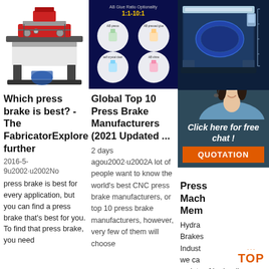[Figure (photo): Industrial press brake machine photo on white background]
[Figure (infographic): AB Glue Ratio Optionality 1:1-10:1 product infographic on dark blue background]
[Figure (photo): Large industrial printing or pressing machine on dark blue background]
[Figure (infographic): 24/7 Online customer service widget with woman headset photo and QUOTATION button]
Which press brake is best? - The FabricatorExplore further
2016-5-9  No press brake is best for every application, but you can find a press brake that's best for you. To find that press brake, you need
Global Top 10 Press Brake Manufacturers (2021 Updated ...
2 days ago  A lot of people want to know the world's best CNC press brake manufacturers, or top 10 press brake manufacturers, however, very few of them will choose
Press Mac Mem
Hydra Brakes Indust we ca variety of hydraulic press brake models to meet the unique needs of the various businesses we serve